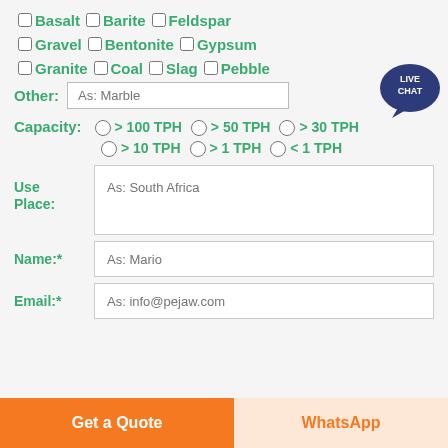□ Basalt □ Barite □ Feldspar
□ Gravel □ Bentonite □ Gypsum
□ Granite □ Coal □ Slag □ Pebble
Other: As: Marble
Capacity: ○ > 100 TPH ○ > 50 TPH ○ > 30 TPH
○ > 10 TPH ○ > 1 TPH ○ < 1 TPH
Use Place: As: South Africa
Name:* As: Mario
Email:* As: info@pejaw.com
[Figure (illustration): Live Chat bubble badge in dark blue/navy with 'LIVE CHAT' text]
Get a Quote
WhatsApp